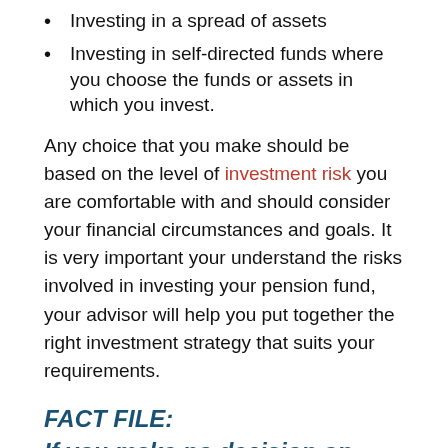Investing in a spread of assets
Investing in self-directed funds where you choose the funds or assets in which you invest.
Any choice that you make should be based on the level of investment risk you are comfortable with and should consider your financial circumstances and goals. It is very important your understand the risks involved in investing your pension fund, your advisor will help you put together the right investment strategy that suits your requirements.
FACT FILE:
If you make no decision on how to invest your Personal Pension Plan it may be automatically invested in a default fund by your